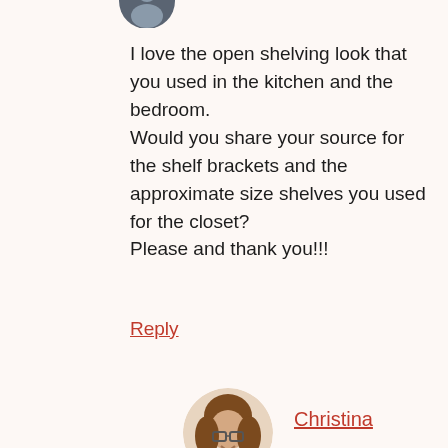[Figure (photo): Partial circular avatar image of a person, cropped at top of page]
I love the open shelving look that you used in the kitchen and the bedroom. Would you share your source for the shelf brackets and the approximate size shelves you used for the closet? Please and thank you!!!
Reply
[Figure (photo): Circular avatar photo of Christina, a woman with brown hair and glasses, smiling]
Christina
Thank you so much, Heather! The shelves are actually stair treads. We picked them because they were thicker and sturdier than actual shelf